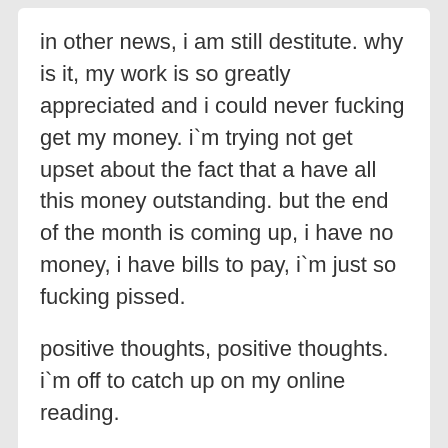in other news, i am still destitute. why is it, my work is so greatly appreciated and i could never fucking get my money. i`m trying not get upset about the fact that a have all this money outstanding. but the end of the month is coming up, i have no money, i have bills to pay, i`m just so fucking pissed.
positive thoughts, positive thoughts. i`m off to catch up on my online reading.
have a good one. ciao.
In personal
appreciation